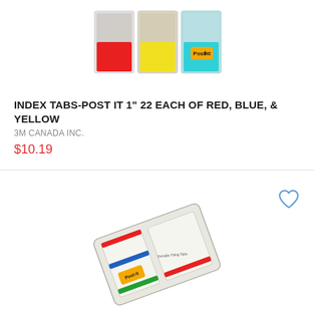[Figure (photo): Post-it index tabs product image showing three dispensers with red, yellow, and blue/teal tabs]
INDEX TABS-POST IT 1" 22 EACH OF RED, BLUE, & YELLOW
3M CANADA INC.
$10.19
[Figure (photo): Post-it durable filing tabs product image showing a plastic dispenser with red, blue, and green striped tabs]